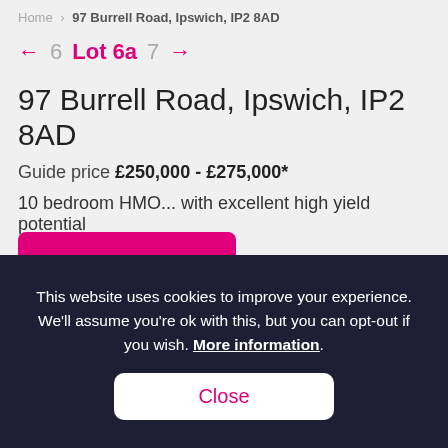Home > 97 Burrell Road, Ipswich, IP2 8AD
← 6  Lot 6a  7 →
97 Burrell Road, Ipswich, IP2 8AD
Guide price £250,000 - £275,000*
10 bedroom HMO... with excellent high yield potential
This website uses cookies to improve your experience. We'll assume you're ok with this, but you can opt-out if you wish. More information.
Close